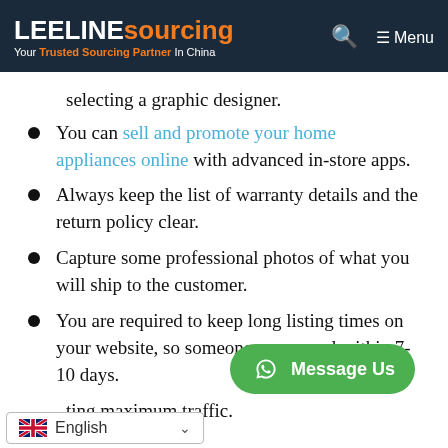LEELINE sourcing — Your Trusted Sourcing Partner In China
selecting a graphic designer.
You can sell and promote your home appliances online with advanced in-store apps.
Always keep the list of warranty details and the return policy clear.
Capture some professional photos of what you will ship to the customer.
You are required to keep long listing times on your we[bsite, so] someone can cancel within 7-10 days.
ting maximum traffic.